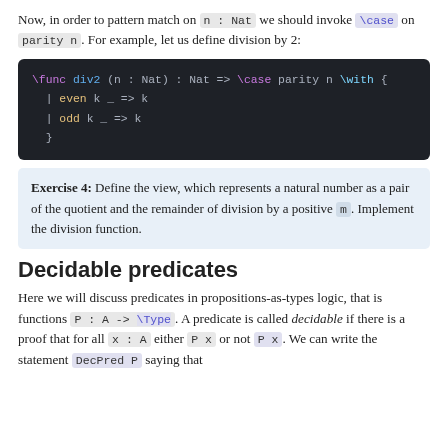Now, in order to pattern match on n : Nat we should invoke \case on parity n. For example, let us define division by 2:
\func div2 (n : Nat) : Nat => \case parity n \with {
  | even k _ => k
  | odd k _ => k
}
Exercise 4: Define the view, which represents a natural number as a pair of the quotient and the remainder of division by a positive m. Implement the division function.
Decidable predicates
Here we will discuss predicates in propositions-as-types logic, that is functions P : A -> \Type. A predicate is called decidable if there is a proof that for all x : A either P x or not P x. We can write the statement DecPred P saying that